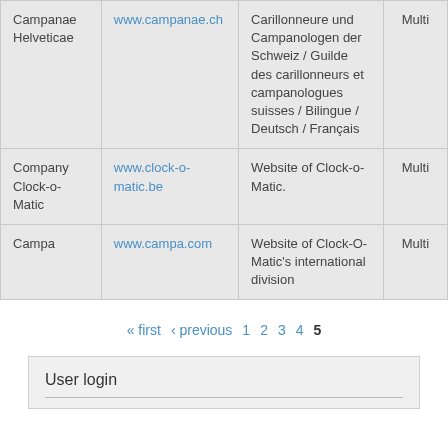| Campanae Helveticae | www.campanae.ch | Carillonneure und Campanologen der Schweiz / Guilde des carillonneurs et campanologues suisses / Bilingue / Deutsch / Français | Multi |
| Company Clock-o-Matic | www.clock-o-matic.be | Website of Clock-o-Matic. | Multi |
| Campa | www.campa.com | Website of Clock-O-Matic's international division | Multi |
« first ‹ previous 1 2 3 4 5
User login